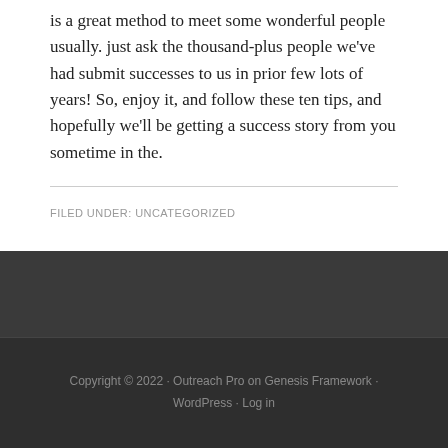is a great method to meet some wonderful people usually. just ask the thousand-plus people we've had submit successes to us in prior few lots of years! So, enjoy it, and follow these ten tips, and hopefully we'll be getting a success story from you sometime in the.
FILED UNDER: UNCATEGORIZED
Copyright © 2022 · Outreach Pro on Genesis Framework · WordPress · Log in